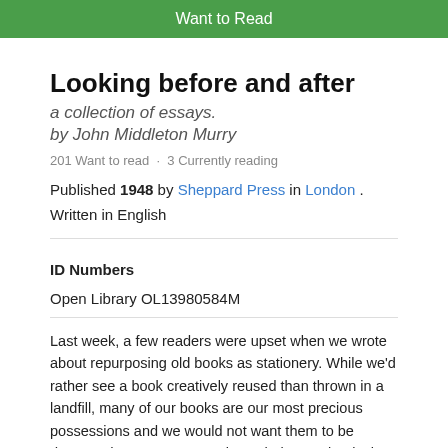Want to Read
Looking before and after
a collection of essays.
by John Middleton Murry
201 Want to read · 3 Currently reading
Published 1948 by Sheppard Press in London . Written in English
ID Numbers
Open Library OL13980584M
Last week, a few readers were upset when we wrote about repurposing old books as stationery. While we'd rather see a book creatively reused than thrown in a landfill, many of our books are our most precious possessions and we would not want them to be destroyed. Here are some tips to help your books last longer The spine of a new hardcover book can be stiff and might crack if it is